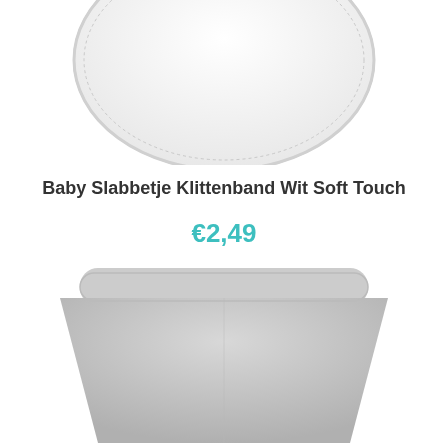[Figure (photo): Top portion of a white baby bib with rounded shape and stitched edge, cropped at top of page]
Baby Slabbetje Klittenband Wit Soft Touch
€2,49
[Figure (photo): A light gray triangular/bandana-style baby bib laid flat, shown from above]